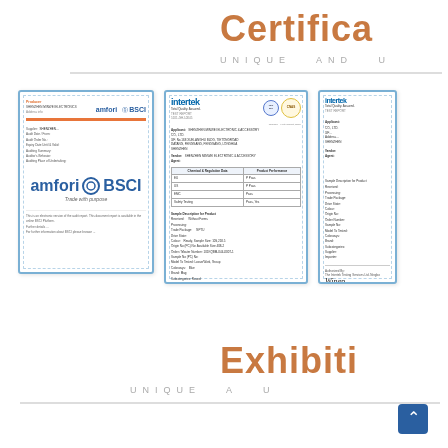Certifica
UNIQUE AND U
[Figure (photo): Three certificate documents side by side: amfori BSCI certificate, Intertek test report, and partial Intertek test report]
Exhibiti
UNIQUE A U